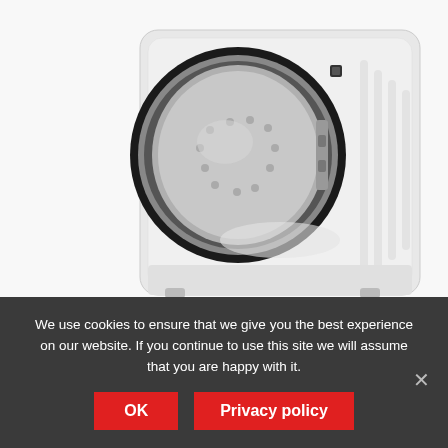[Figure (photo): White front-loading washing machine (Hisense WFGA80141VM) with door open, showing the drum interior, photographed at an angle on a white background.]
Hisense WFGA80141VM 8kg 1400rpm Washer in White HW174458
We use cookies to ensure that we give you the best experience on our website. If you continue to use this site we will assume that you are happy with it.
OK   Privacy policy